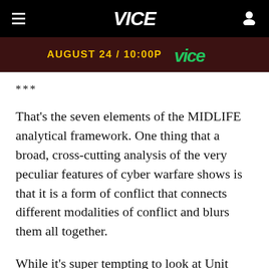VICE
[Figure (screenshot): Advertisement banner showing 'AUGUST 24 / 10:00P' in yellow text on dark red background with a stylized green logo]
***
That’s the seven elements of the MIDLIFE analytical framework. One thing that a broad, cross-cutting analysis of the very peculiar features of cyber warfare shows is that it is a form of conflict that connects different modalities of conflict and blurs them all together.
While it’s super tempting to look at Unit 61398